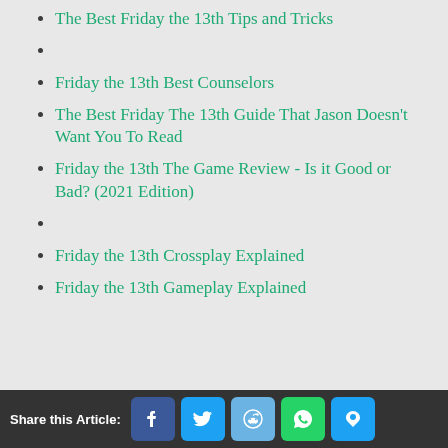The Best Friday the 13th Tips and Tricks
Friday the 13th Best Counselors
The Best Friday The 13th Guide That Jason Doesn't Want You To Read
Friday the 13th The Game Review - Is it Good or Bad? (2021 Edition)
Friday the 13th Crossplay Explained
Friday the 13th Gameplay Explained
Share this Article: